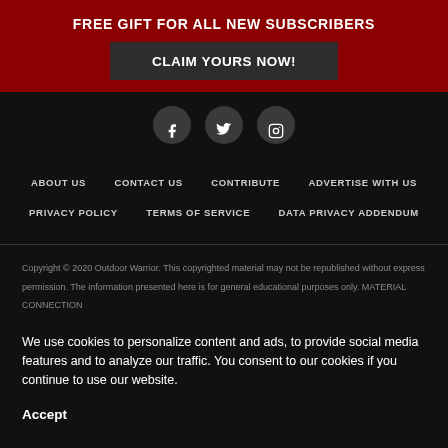FREE GIFT FOR ALL NEW SUBSCRIBERS
CLAIM YOURS NOW!
[Figure (infographic): Social media icons: Facebook, Twitter, Instagram]
ABOUT US
CONTACT US
CONTRIBUTE
ADVERTISE WITH US
PRIVACY POLICY
TERMS OF SERVICE
DATA PRIVACY ADDENDUM
Copyright © 2020 Outdoor Warrior. This copyrighted material may not be republished without express permission. The information presented here is for general educational purposes only. MATERIAL CONNECTION
We use cookies to personalize content and ads, to provide social media features and to analyze our traffic. You consent to our cookies if you continue to use our website.
Accept